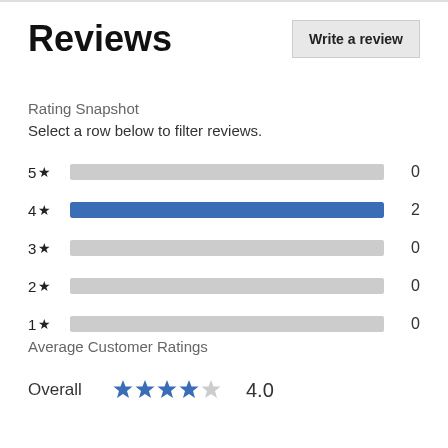Reviews
Write a review
Rating Snapshot
Select a row below to filter reviews.
[Figure (bar-chart): Rating Snapshot]
Average Customer Ratings
Overall  ★★★★☆  4.0